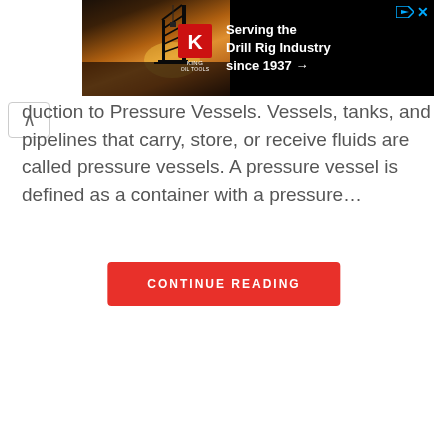[Figure (photo): Advertisement banner for King Oil Tools - 'Serving the Drill Rig Industry since 1937'. Black background with oil rig silhouette at sunset and red K logo.]
…duction to Pressure Vessels. Vessels, tanks, and pipelines that carry, store, or receive fluids are called pressure vessels. A pressure vessel is defined as a container with a pressure…
CONTINUE READING